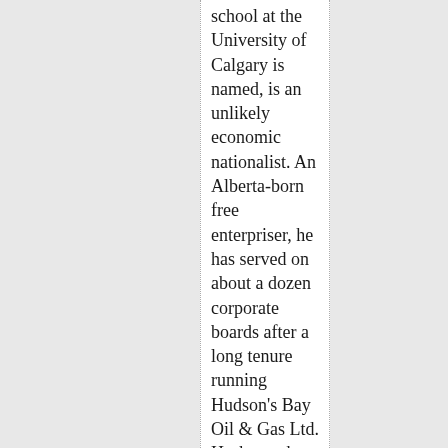school at the University of Calgary is named, is an unlikely economic nationalist. An Alberta-born free enterpriser, he has served on about a dozen corporate boards after a long tenure running Hudson's Bay Oil & Gas Ltd. Haskayne has since helped guide the "made in